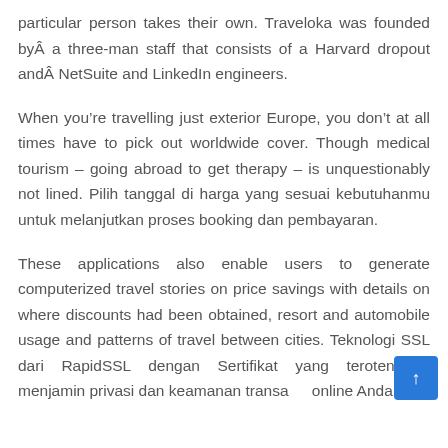particular person takes their own. Traveloka was founded byÂ a three-man staff that consists of a Harvard dropout andÂ NetSuite and LinkedIn engineers.
When you’re travelling just exterior Europe, you don’t at all times have to pick out worldwide cover. Though medical tourism – going abroad to get therapy – is unquestionably not lined. Pilih tanggal di harga yang sesuai kebutuhanmu untuk melanjutkan proses booking dan pembayaran.
These applications also enable users to generate computerized travel stories on price savings with details on where discounts had been obtained, resort and automobile usage and patterns of travel between cities. Teknologi SSL dari RapidSSL dengan Sertifikat yang terotentikasi menjamin privasi dan keamanan transaksi online Anda.